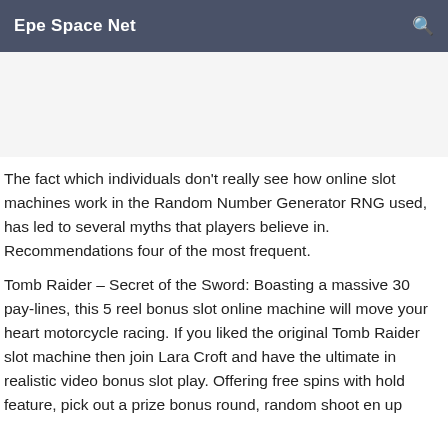Epe Space Net
The fact which individuals don't really see how online slot machines work in the Random Number Generator RNG used, has led to several myths that players believe in. Recommendations four of the most frequent.
Tomb Raider – Secret of the Sword: Boasting a massive 30 pay-lines, this 5 reel bonus slot online machine will move your heart motorcycle racing. If you liked the original Tomb Raider slot machine then join Lara Croft and have the ultimate in realistic video bonus slot play. Offering free spins with hold feature, pick out a prize bonus round, random shoot en up